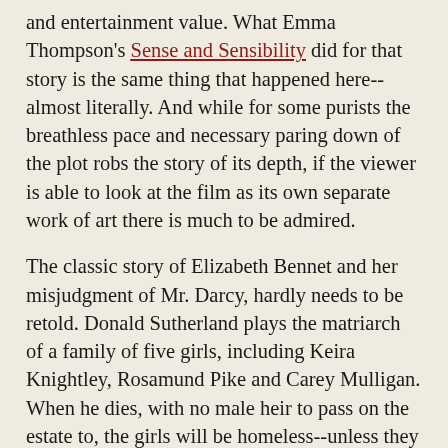and entertainment value. What Emma Thompson's Sense and Sensibility did for that story is the same thing that happened here--almost literally. And while for some purists the breathless pace and necessary paring down of the plot robs the story of its depth, if the viewer is able to look at the film as its own separate work of art there is much to be admired.
The classic story of Elizabeth Bennet and her misjudgment of Mr. Darcy, hardly needs to be retold. Donald Sutherland plays the matriarch of a family of five girls, including Keira Knightley, Rosamund Pike and Carey Mulligan. When he dies, with no male heir to pass on the estate to, the girls will be homeless--unless they can marry. And while Matthew Macfadyen's excessive pride causes Knightley's prejudice to keep them apart, unlike the miniseries there is still a sense of their mutual attraction throughout the entire film. What leaps out from the screen in this production is a realism that is lacking by comparison in all others. One only has to look at the first ball scene to see that. Instead of the ultra-choreographed, chorus-line type dancing that we're used to seeing in these period dramas, this is an actual party, with people actually dancing, having fun. The precision is there